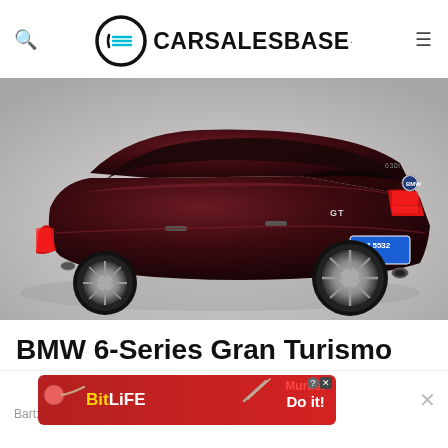CARSALESBASE.
[Figure (photo): Dark red/maroon BMW 6-Series Gran Turismo sedan photographed from rear three-quarter angle on a light grey studio background. License plate reads M·LJ 5532.]
BMW 6-Series Gran Turismo
[Figure (other): BitLife advertisement banner with Murder Do it! text on red background with spoon graphic]